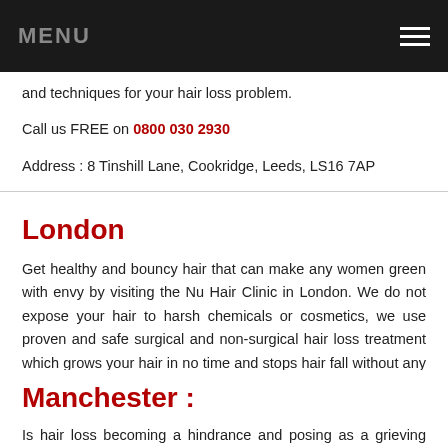MENU
and techniques for your hair loss problem.
Call us FREE on 0800 030 2930
Address : 8 Tinshill Lane, Cookridge, Leeds, LS16 7AP
London
Get healthy and bouncy hair that can make any women green with envy by visiting the Nu Hair Clinic in London. We do not expose your hair to harsh chemicals or cosmetics, we use proven and safe surgical and non-surgical hair loss treatment which grows your hair in no time and stops hair fall without any side effects.
Call us FREE on 0800 030 2930
Address : 10 Harley Street, London, W1G 8QU
Manchester :
Is hair loss becoming a hindrance and posing as a grieving problem in your social life. Are you having difficulty making an appearance